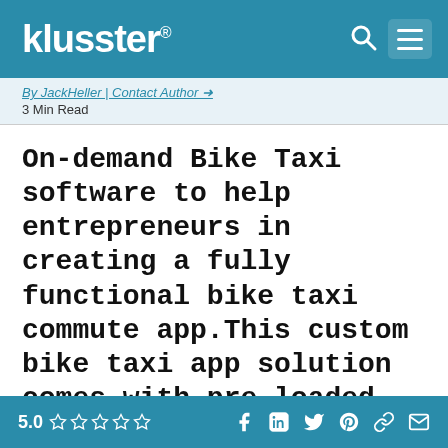klusster®
By JackHeller | Contact Author ➜
3 Min Read
On-demand Bike Taxi software to help entrepreneurs in creating a fully functional bike taxi commute app.This custom bike taxi app solution comes with pre-loaded
You are surrounded by honking of cars and the sound of the engine purring in a jammed signal. Your destination is just about the corner but it is taking you forever to reach there. In such a case, in
5.0 ☆☆☆☆☆